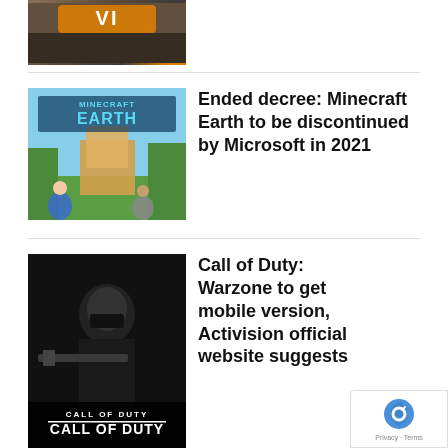[Figure (photo): Partial top image, appears to be a game screenshot with orange/yellow logo partially visible]
[Figure (photo): Minecraft Earth promotional image showing the game logo and people using AR on a smartphone outdoors]
Ended decree: Minecraft Earth to be discontinued by Microsoft in 2021
[Figure (photo): Call of Duty game cover art showing a soldier in dark tactical gear with 'CALL OF DUTY' text at the bottom]
Call of Duty: Warzone to get mobile version, Activision official website suggests